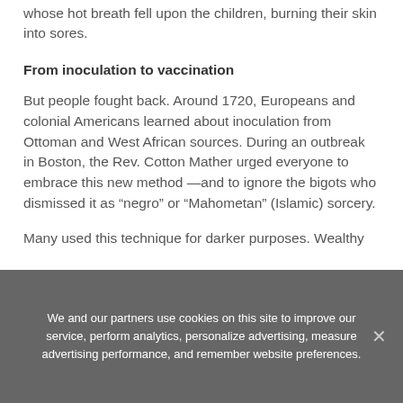whose hot breath fell upon the children, burning their skin into sores.
From inoculation to vaccination
But people fought back. Around 1720, Europeans and colonial Americans learned about inoculation from Ottoman and West African sources. During an outbreak in Boston, the Rev. Cotton Mather urged everyone to embrace this new method —and to ignore the bigots who dismissed it as “negro” or “Mahometan” (Islamic) sorcery.
Many used this technique for darker purposes. Wealthy
We and our partners use cookies on this site to improve our service, perform analytics, personalize advertising, measure advertising performance, and remember website preferences.